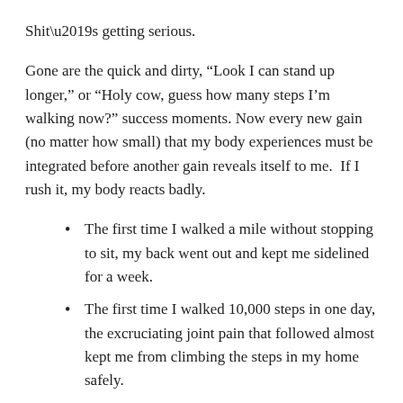Shit’s getting serious.
Gone are the quick and dirty, “Look I can stand up longer,” or “Holy cow, guess how many steps I’m walking now?” success moments. Now every new gain (no matter how small) that my body experiences must be integrated before another gain reveals itself to me. If I rush it, my body reacts badly.
The first time I walked a mile without stopping to sit, my back went out and kept me sidelined for a week.
The first time I walked 10,000 steps in one day, the excruciating joint pain that followed almost kept me from climbing the steps in my home safely.